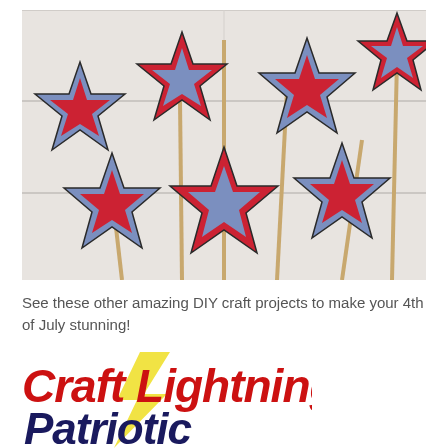[Figure (photo): Photo of red and blue paper star decorations on wooden sticks arranged on a white wooden background, patriotic 4th of July craft project]
See these other amazing DIY craft projects to make your 4th of July stunning!
[Figure (logo): Craft Lightning Patriotic logo in red and dark navy italic bold text with a yellow lightning bolt accent]